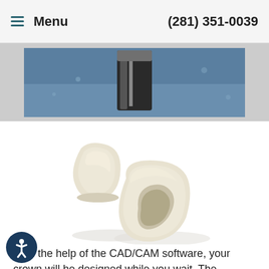≡ Menu   (281) 351-0039
[Figure (photo): Partial view of a dental implant or instrument photographed against a blue background, showing metallic components]
[Figure (photo): Two dental ceramic crowns shown on a white background — one smaller crown standing upright and one larger crown lying on its side showing the hollow interior]
With the help of the CAD/CAM software, your crown will be designed while you wait. The software can even be used to create a mirror-image twin of the same tooth on the other side of your mouth, for the most natural-looking result possible. Then a block of dental ceramic material is chosen in the shade that most closely matches your own teeth. The computer's digital